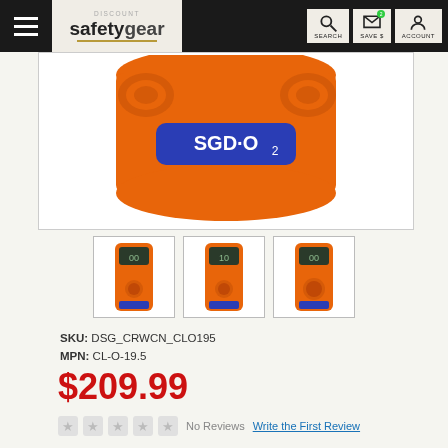DISCOUNT safetygear — SEARCH | SAVE $ | ACCOUNT
[Figure (photo): Close-up of an orange SGD.O2 gas detector device showing the label on top]
[Figure (photo): Three thumbnail images of orange single-gas detector devices shown from the front]
SKU: DSG_CRWCN_CLO195
MPN: CL-O-19.5
$209.99
No Reviews  Write the First Review